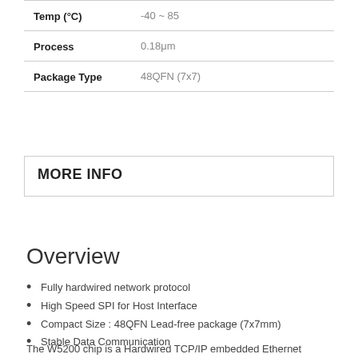| Property | Value |
| --- | --- |
| Temp (°C) | -40 ~ 85 |
| Process | 0.18μm |
| Package Type | 48QFN (7x7) |
MORE INFO
Overview
Fully hardwired network protocol
High Speed SPI for Host Interface
Compact Size : 48QFN Lead-free package (7x7mm)
Stable Data Communication
The W5200 chip is a Hardwired TCP/IP embedded Ethernet controller that enables easier Internet connection for embedded systems.
W5200 suits users in need of stable Internet connectivity best, using a single chip to implement TCP/IP Stack, 10/100 Ethernet